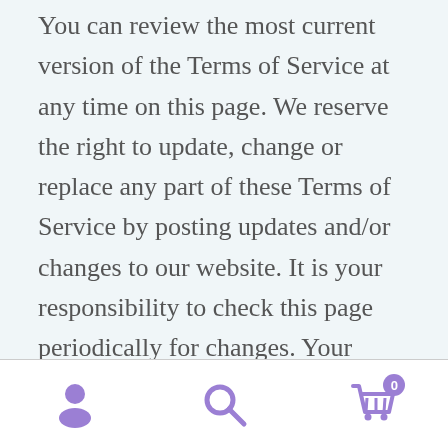You can review the most current version of the Terms of Service at any time on this page. We reserve the right to update, change or replace any part of these Terms of Service by posting updates and/or changes to our website. It is your responsibility to check this page periodically for changes. Your continued use of or access to the website following the posting of any changes constitutes acceptance of those changes.
Navigation bar with user icon, search icon, and cart icon with badge 0